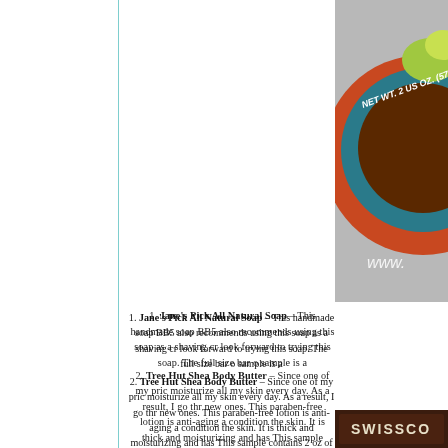[Figure (photo): Top portion of a circular soap product with orange and teal/blue coloring, text reads 'NET WT. 2 US OZ. (57g)' and a partial URL 'www.' visible, with lime/citrus imagery, on a gray background.]
1. Jane's Pick All Natural Soap – This handmade soap BB5 also recommends using this soap as a shaving cr look forward to trying this soap. The full size bar o sample is a
2. Tree Hut Shea Body Butter – Since one of my pric moisturize all my skin every day. As a result, I go thr new ones. This paraben-free lotion is anti-aging a condition the skin. It is thick and moisturizing and has This sample contains 2 oz of product. The f
3. H2O Plus Hand & Nail Cream – Every night before b soft, moisturized hands. I prefer to apply hand cream to feel greasy during the day. This cream from H2O is day now too. It adds moisture to the skin with silk pro contains 1 oz. The full size con
[Figure (photo): Bottom portion of image showing a dark brown product box with the 'SWISSCO' brand name in silver/white text.]